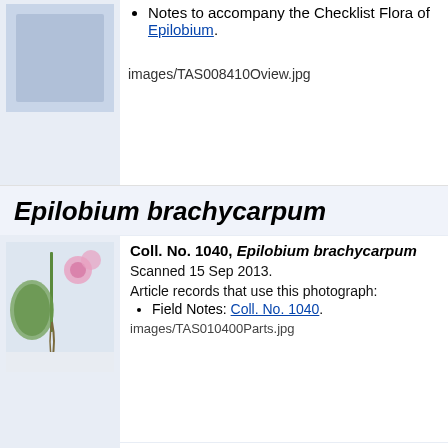Notes to accompany the Checklist Flora of Epilobium.
images/TAS008410Oview.jpg
Epilobium brachycarpum
[Figure (photo): Herbarium specimen photo of Epilobium brachycarpum showing pink flowers and leaves]
Coll. No. 1040, Epilobium brachycarpum
Scanned 15 Sep 2013.
Article records that use this photograph:
Field Notes: Coll. No. 1040.
images/TAS010400Parts.jpg
[Figure (photo): Herbarium specimen photo of Epilobium brachycarpum showing dried plant specimen]
Coll. No. 1286.1, Epilobium brachycarpum
Scanned 16 January 2016.
Article records that use this photograph:
Checklist Flora of Native and Naturalized Golden and Vicinity, Jefferson County, C...